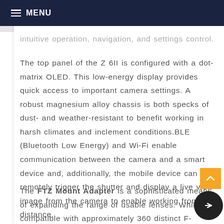MENU
intuitive operation, navigation, and settings control.
The top panel of the Z 6II is configured with a dot-matrix OLED. This low-energy display provides quick access to important camera settings. A robust magnesium alloy chassis is both specks of dust- and weather-resistant to benefit working in harsh climates and inclement conditions.BLE (Bluetooth Low Energy) and Wi-Fi enable communication between the camera and a smart device and, additionally, the mobile device can remotely trigger the shutter and display a live view image from the camera to enable working from a distance.
The FTZ Mount Adapter is a sophisticated means of expanding the range of usable lenses. While compatible with approximately 360 distinct F-mount